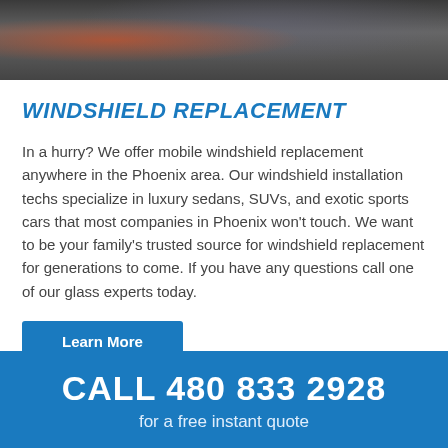[Figure (photo): Photo banner showing a windshield replacement technician working on a vehicle, partially visible at the top of the page.]
WINDSHIELD REPLACEMENT
In a hurry? We offer mobile windshield replacement anywhere in the Phoenix area. Our windshield installation techs specialize in luxury sedans, SUVs, and exotic sports cars that most companies in Phoenix won't touch. We want to be your family's trusted source for windshield replacement for generations to come. If you have any questions call one of our glass experts today.
Learn More
CALL 480 833 2928
for a free instant quote